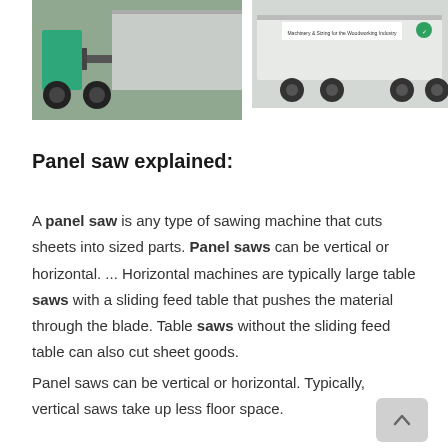[Figure (photo): Photo of a forklift loading or handling a large flat panel or sheet material near a truck or trailer, outdoors.]
[Figure (photo): Photo of a white transport truck or trailer with signage, parked outdoors.]
Panel saw explained:
A panel saw is any type of sawing machine that cuts sheets into sized parts. Panel saws can be vertical or horizontal. ... Horizontal machines are typically large table saws with a sliding feed table that pushes the material through the blade. Table saws without the sliding feed table can also cut sheet goods.
Panel saws can be vertical or horizontal. Typically, vertical saws take up less floor space.